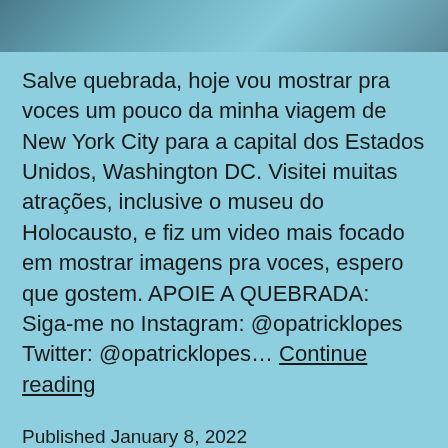[Figure (photo): Partial image strip at the top showing a cropped photo with blue/teal tones]
Salve quebrada, hoje vou mostrar pra voces um pouco da minha viagem de New York City para a capital dos Estados Unidos, Washington DC. Visitei muitas atrações, inclusive o museu do Holocausto, e fiz um video mais focado em mostrar imagens pra voces, espero que gostem. APOIE A QUEBRADA: Siga-me no Instagram: @opatricklopes Twitter: @opatricklopes… Continue reading
Published January 8, 2022